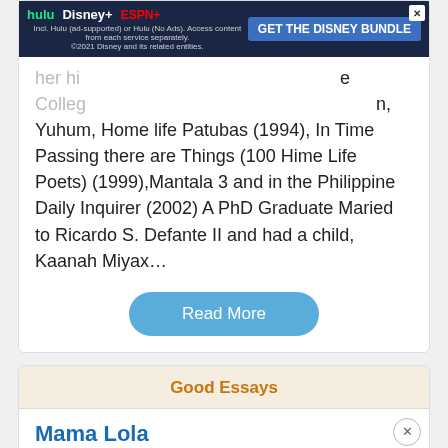[Figure (screenshot): Disney Bundle advertisement banner with Hulu, Disney+, ESPN+ logos and GET THE DISNEY BUNDLE call to action button]
her hi... College... Yuhum, Home life Patubas (1994), In Time Passing there are Things (100 Hime Life Poets) (1999),Mantala 3 and in the Philippine Daily Inquirer (2002) A PhD Graduate Maried to Ricardo S. Defante II and had a child, Kaanah Miyax…
Read More
Good Essays
Mama Lola
698 Words
3 Pages
THE VODOU PRIESTESS: MAMA LOLA I found Karen